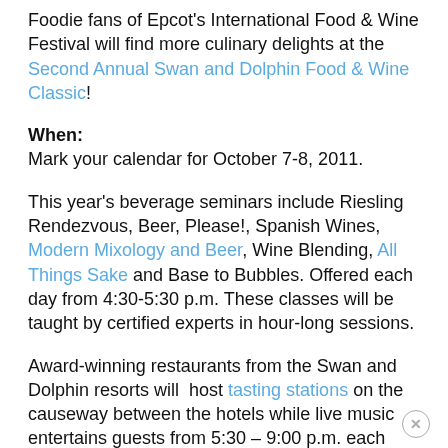Foodie fans of Epcot's International Food & Wine Festival will find more culinary delights at the Second Annual Swan and Dolphin Food & Wine Classic!
When:
Mark your calendar for October 7-8, 2011.
This year's beverage seminars include Riesling Rendezvous, Beer, Please!, Spanish Wines, Modern Mixology and Beer, Wine Blending, All Things Sake and Base to Bubbles. Offered each day from 4:30-5:30 p.m. These classes will be taught by certified experts in hour-long sessions.
Award-winning restaurants from the Swan and Dolphin resorts will host tasting stations on the causeway between the hotels while live music entertains guests from 5:30 – 9:00 p.m. each day!
Causeway Menu